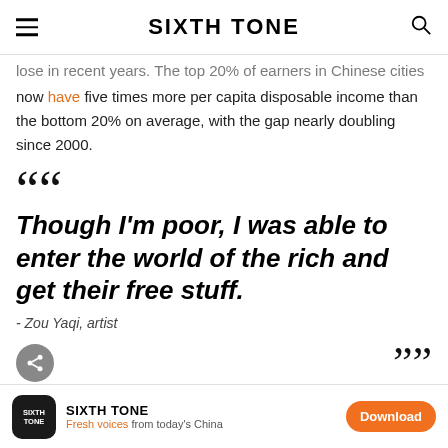SIXTH TONE
lose in recent years. The top 20% of earners in Chinese cities now have five times more per capita disposable income than the bottom 20% on average, with the gap nearly doubling since 2000.
Though I'm poor, I was able to enter the world of the rich and get their free stuff. - Zou Yaqi, artist